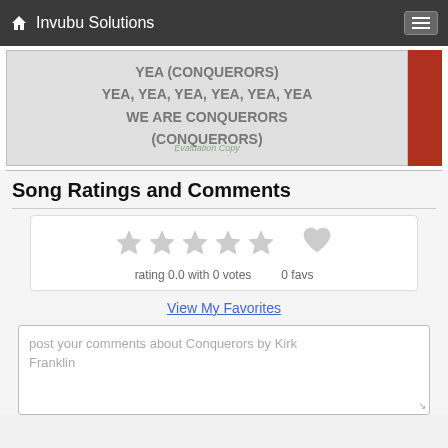Invubu Solutions
[Figure (screenshot): Song lyrics display showing 'YEA (CONQUERORS) YEA, YEA, YEA, YEA, YEA, YEA WE ARE CONQUERORS (CONQUERORS)' with a red strip on the right and evaluation copy watermark]
Song Ratings and Comments
[Figure (infographic): Star rating widget showing 5 gray stars and a gray heart icon, with text 'rating 0.0 with 0 votes' and '0 favs']
View My Favorites
post your comments about Conquerors by Kirk Franklin